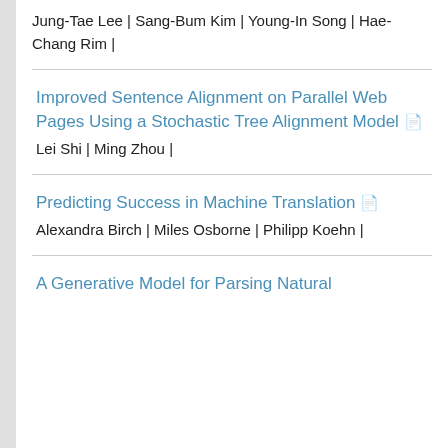Jung-Tae Lee | Sang-Bum Kim | Young-In Song | Hae-Chang Rim |
Improved Sentence Alignment on Parallel Web Pages Using a Stochastic Tree Alignment Model
Lei Shi | Ming Zhou |
Predicting Success in Machine Translation
Alexandra Birch | Miles Osborne | Philipp Koehn |
A Generative Model for Parsing Natural